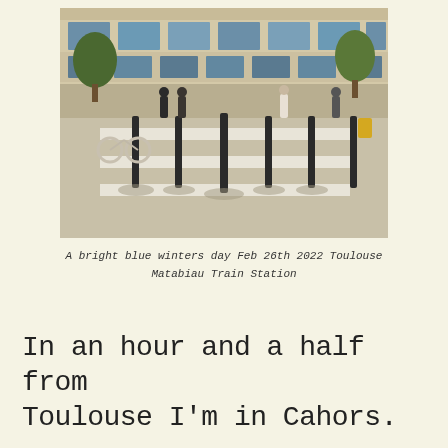[Figure (photo): Outdoor photo of Toulouse Matabiau Train Station on a bright sunny winter day. The large classical stone building facade is visible in the background with blue windows. In the foreground is a wide pedestrian plaza with bollards, a zebra crossing, people walking, a bicycle, and shadows cast by the bollards on the pavement.]
A bright blue winters day Feb 26th 2022 Toulouse Matabiau Train Station
In an hour and a half from Toulouse I'm in Cahors.